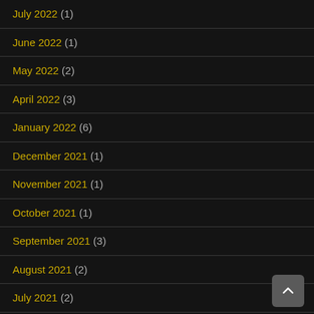July 2022 (1)
June 2022 (1)
May 2022 (2)
April 2022 (3)
January 2022 (6)
December 2021 (1)
November 2021 (1)
October 2021 (1)
September 2021 (3)
August 2021 (2)
July 2021 (2)
June 2021 (4)
May 2021 (3)
April 2021 (1)